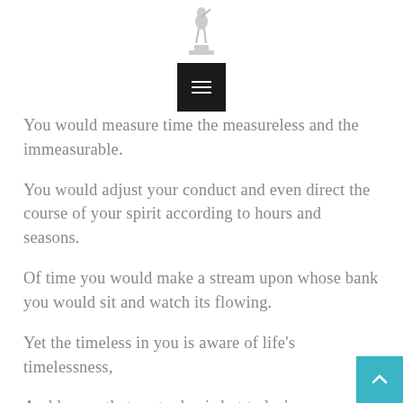[Figure (illustration): Small decorative figure/statue logo at top center]
[Figure (other): Dark square menu button with three horizontal white lines (hamburger icon)]
You would measure time the measureless and the immeasurable.
You would adjust your conduct and even direct the course of your spirit according to hours and seasons.
Of time you would make a stream upon whose bank you would sit and watch its flowing.
Yet the timeless in you is aware of life's timelessness,
And knows that yesterday is but today's memory and tomorrow is today's dream.
[Figure (other): Teal/cyan scroll-to-top button with upward chevron arrow, bottom right corner]